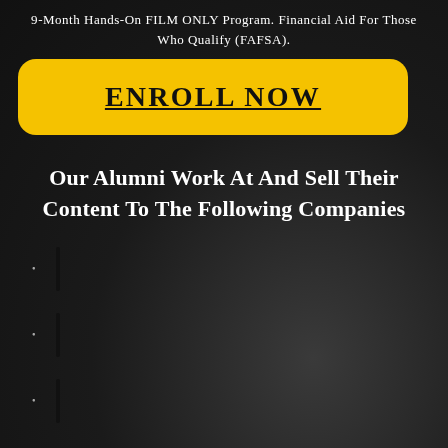9-Month Hands-On FILM ONLY Program. Financial Aid For Those Who Qualify (FAFSA).
[Figure (other): Yellow rounded rectangle button with underlined bold text 'ENROLL NOW']
Our Alumni Work At And Sell Their Content To The Following Companies